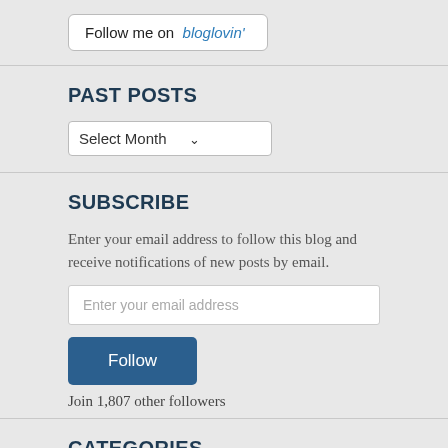[Figure (other): Follow me on bloglovin' button — white rounded rectangle with text 'Follow me on bloglovin'' where bloglovin' is in blue]
PAST POSTS
[Figure (other): Dropdown select box showing 'Select Month' with a chevron arrow]
SUBSCRIBE
Enter your email address to follow this blog and receive notifications of new posts by email.
[Figure (other): Text input field with placeholder 'Enter your email address']
[Figure (other): Dark blue Follow button]
Join 1,807 other followers
CATEGORIES
[Figure (other): Dropdown select box showing 'Select Category' with a chevron arrow]